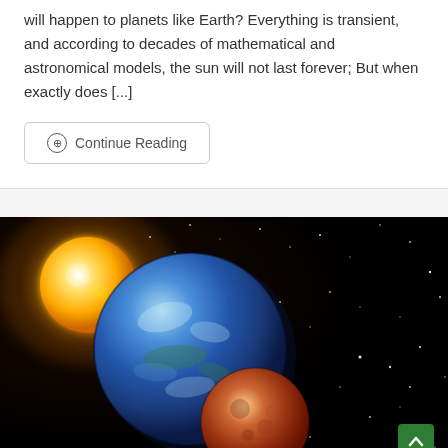will happen to planets like Earth? Everything is transient, and according to decades of mathematical and astronomical models, the sun will not last forever; But when exactly does [...]
⊙  Continue Reading
[Figure (illustration): Space illustration showing a large blue planet (Earth-like) in the center-left, a smaller reddish moon/planet in front of it, a bright yellow star (sun) in the upper left, and a black starfield background. Watermark text 'usefulpracticalknowledge.com' at bottom.]